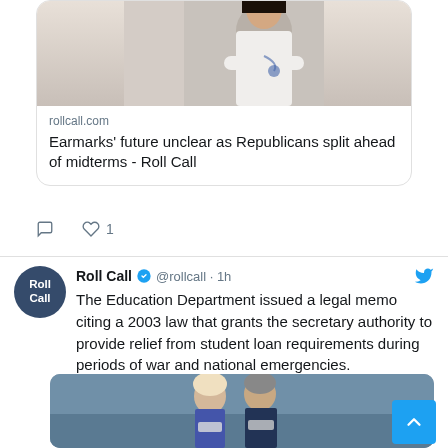[Figure (photo): Partial view of a woman in white clothing, top of tweet card]
rollcall.com
Earmarks' future unclear as Republicans split ahead of midterms - Roll Call
Roll Call @rollcall · 1h
The Education Department issued a legal memo citing a 2003 law that grants the secretary authority to provide relief from student loan requirements during periods of war and national emergencies.
ow.ly/IQRm50KsoXc
[Figure (photo): Two people wearing masks, partial view at bottom of page]